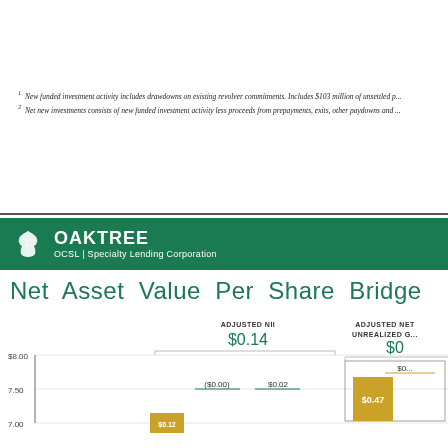1 New funded investment activity includes drawdowns on existing revolver commitments. Includes $103 million of unsettled p...
2 Net new investments consists of new funded investment activity less proceeds from prepayments, exits, other paydowns and ...
[Figure (logo): Oaktree OCSL Specialty Lending Corporation logo — white oak leaf icon with OAKTREE text and OCSL | Specialty Lending Corporation subtitle on green background]
Net Asset Value Per Share Bridge
[Figure (waterfall-chart): Waterfall chart showing NAV per share bridge. Y-axis from 7.00 to $8.00. Shows ADJUSTED NII $0.14 with sub-components ($0.00), $0.02, $0.12. Also shows ADJUSTED NET UNREALIZED GAINS/LOSSES with $0 label and $0.47 bar visible.]